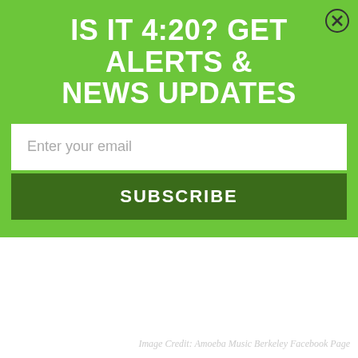IS IT 4:20? GET ALERTS & NEWS UPDATES
Enter your email
SUBSCRIBE
Image Credit: Amoeba Music Berkeley Facebook Page